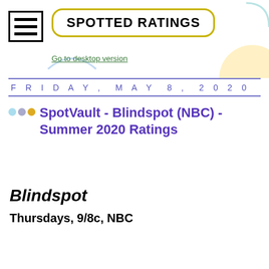SPOTTED RATINGS
Go to desktop version
FRIDAY, MAY 8, 2020
SpotVault - Blindspot (NBC) - Summer 2020 Ratings
Blindspot
Thursdays, 9/8c, NBC